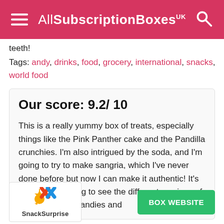AllSubscriptionBoxes UK
teeth!
Tags: andy, drinks, food, grocery, international, snacks, world food
Our score: 9.2/ 10
This is a really yummy box of treats, especially things like the Pink Panther cake and the Pandilla crunchies. I'm also intrigued by the soda, and I'm going to try to make sangria, which I've never done before but now I can make it authentic! It's always interesting to see the different versions of almost-familiar candies and what other countries have. This is a really fun
[Figure (logo): SnackSurprise logo with colorful star/X design]
BOX WEBSITE